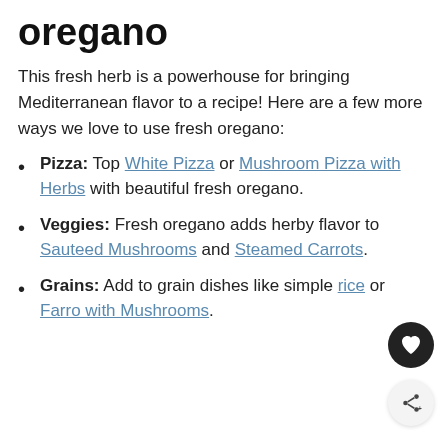oregano
This fresh herb is a powerhouse for bringing Mediterranean flavor to a recipe! Here are a few more ways we love to use fresh oregano:
Pizza: Top White Pizza or Mushroom Pizza with Herbs with beautiful fresh oregano.
Veggies: Fresh oregano adds herby flavor to Sauteed Mushrooms and Steamed Carrots.
Grains: Add to grain dishes like simple rice or Farro with Mushrooms.